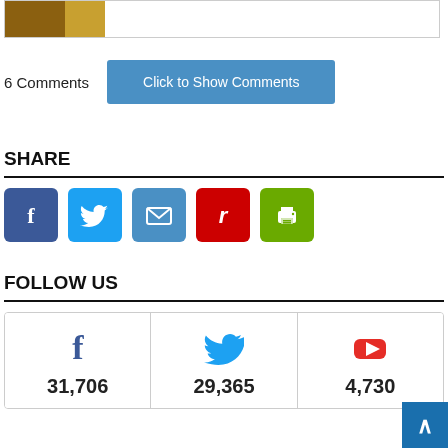[Figure (screenshot): Top border box with partial image visible at top-left corner]
6 Comments   Click to Show Comments
SHARE
[Figure (infographic): Row of 5 social share icon buttons: Facebook (blue), Twitter (light blue), Email (blue), Reddit (red), Print (green)]
FOLLOW US
[Figure (infographic): Three follow cards: Facebook 31,706 | Twitter 29,365 | YouTube 4,730]